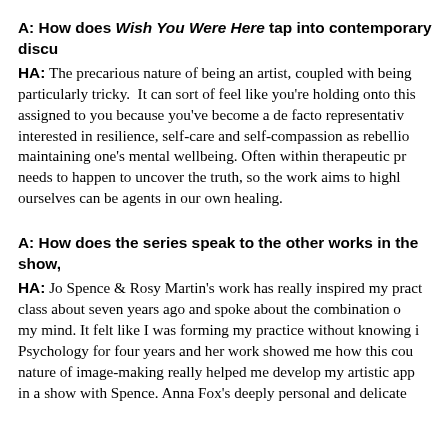A: How does Wish You Were Here tap into contemporary discu...
HA: The precarious nature of being an artist, coupled with being particularly tricky. It can sort of feel like you're holding onto this assigned to you because you've become a de facto representativ interested in resilience, self-care and self-compassion as rebellio maintaining one's mental wellbeing. Often within therapeutic pr needs to happen to uncover the truth, so the work aims to highl ourselves can be agents in our own healing.
A: How does the series speak to the other works in the show,
HA: Jo Spence & Rosy Martin's work has really inspired my pract class about seven years ago and spoke about the combination o my mind. It felt like I was forming my practice without knowing i Psychology for four years and her work showed me how this cou nature of image-making really helped me develop my artistic app in a show with Spence. Anna Fox's deeply personal and delicate...